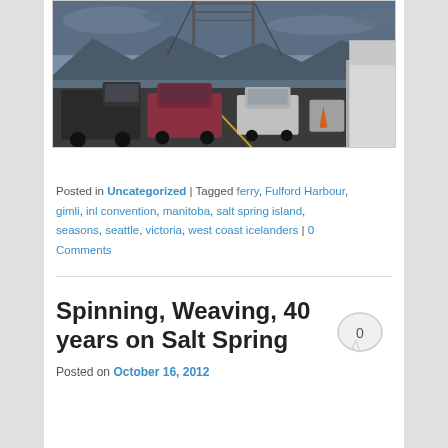[Figure (photo): Cars lined up on a ferry deck with mountains and water in background, overcast sky]
Posted in Uncategorized | Tagged ferry, Fulford Harbour, gimli, inl convention, manitoba, salt spring island, seasons, seattle, victoria, west coast icelanders | 0 Comments
Spinning, Weaving, 40 years on Salt Spring
Posted on October 16, 2012